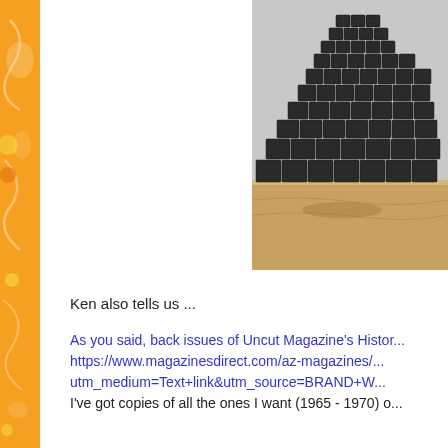[Figure (photo): Photograph of a stacked tower structure made of dark square/rectangular metal mesh or grid units, arranged in a pyramid/tower shape, sitting on a sandy/beige surface against a light background.]
Ken also tells us ...
As you said, back issues of Uncut Magazine's Histor... https://www.magazinesdirect.com/az-magazines/... utm_medium=Text+link&utm_source=BRAND+W... I've got copies of all the ones I want (1965 - 1970) o...